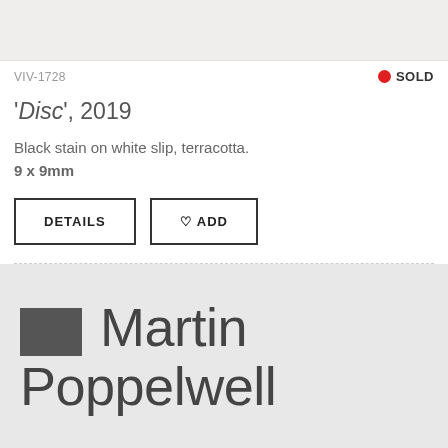[Figure (photo): Cropped top portion of a ceramic artwork photograph, white/off-white surface visible]
VIV-1728
● SOLD
'Disc', 2019
Black stain on white slip, terracotta.
9 x 9mm
DETAILS
♡ ADD
Martin Poppelwell